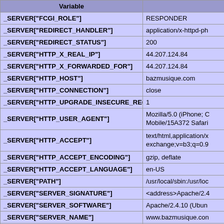| Variable |  |
| --- | --- |
| _SERVER["FCGI_ROLE"] | RESPONDER |
| _SERVER["REDIRECT_HANDLER"] | application/x-httpd-ph |
| _SERVER["REDIRECT_STATUS"] | 200 |
| _SERVER["HTTP_X_REAL_IP"] | 44.207.124.84 |
| _SERVER["HTTP_X_FORWARDED_FOR"] | 44.207.124.84 |
| _SERVER["HTTP_HOST"] | bazmusique.com |
| _SERVER["HTTP_CONNECTION"] | close |
| _SERVER["HTTP_UPGRADE_INSECURE_REQUESTS"] | 1 |
| _SERVER["HTTP_USER_AGENT"] | Mozilla/5.0 (iPhone; C Mobile/15A372 Safari |
| _SERVER["HTTP_ACCEPT"] | text/html,application/x exchange;v=b3;q=0.9 |
| _SERVER["HTTP_ACCEPT_ENCODING"] | gzip, deflate |
| _SERVER["HTTP_ACCEPT_LANGUAGE"] | en-US |
| _SERVER["PATH"] | /usr/local/sbin:/usr/loc |
| _SERVER["SERVER_SIGNATURE"] | <address>Apache/2.4 |
| _SERVER["SERVER_SOFTWARE"] | Apache/2.4.10 (Ubun |
| _SERVER["SERVER_NAME"] | www.bazmusique.con |
| _SERVER["SERVER_ADDR"] | :: |
| _SERVER["SERVER_PORT"] | 80 |